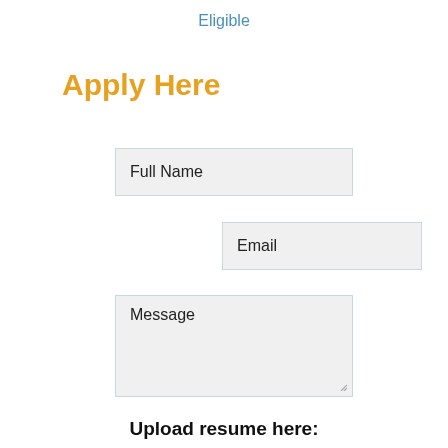Eligible
Apply Here
Full Name
Email
Message
Upload resume here: